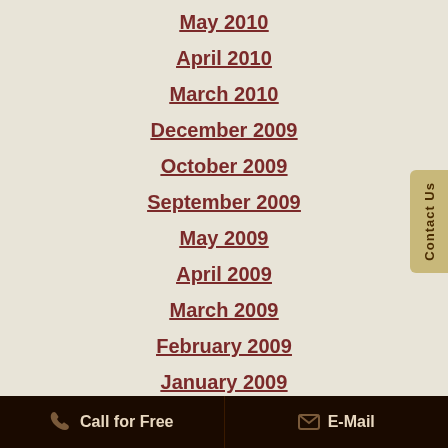May 2010
April 2010
March 2010
December 2009
October 2009
September 2009
May 2009
April 2009
March 2009
February 2009
January 2009
December 2008
November 2008
Call for Free   E-Mail